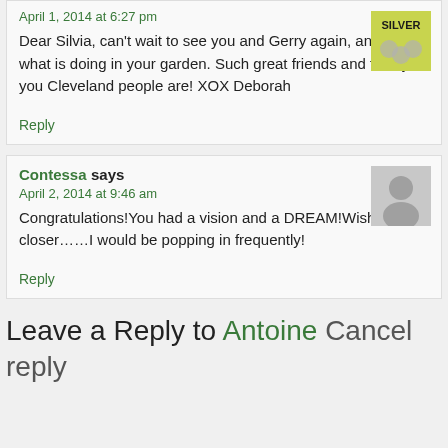April 1, 2014 at 6:27 pm
Dear Silvia, can't wait to see you and Gerry again, and see what is doing in your garden. Such great friends and family you Cleveland people are! XOX Deborah
Reply
Contessa says
April 2, 2014 at 9:46 am
Congratulations!You had a vision and a DREAM!Wish I lived closer……I would be popping in frequently!
Reply
Leave a Reply to Antoine Cancel reply